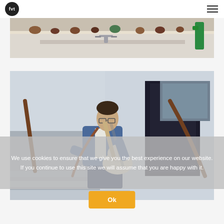fvt (logo) | hamburger menu
[Figure (photo): Kitchen scene with sink, faucet, and potted plants on windowsill]
[Figure (photo): Man in denim jacket sitting on exterior steps playing electric guitar in front of a white building]
We use cookies to ensure that we give you the best experience on our website. If you continue to use this site we will assume that you are happy with it.
Ok